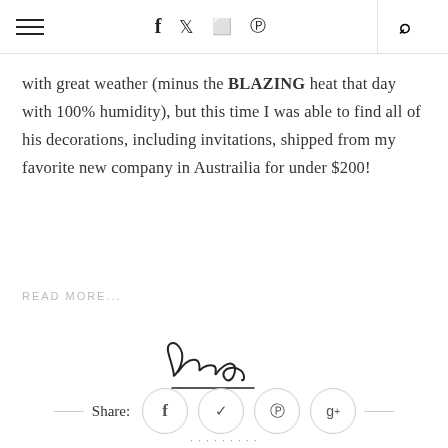≡  f  ✦  ☷  ⊕  🔍
with great weather (minus the BLAZING heat that day with 100% humidity), but this time I was able to find all of his decorations, including invitations, shipped from my favorite new company in Austrailia for under $200!
READ MORE...
[Figure (illustration): Handwritten cursive signature reading 'Sara' with an underline]
Share:
...